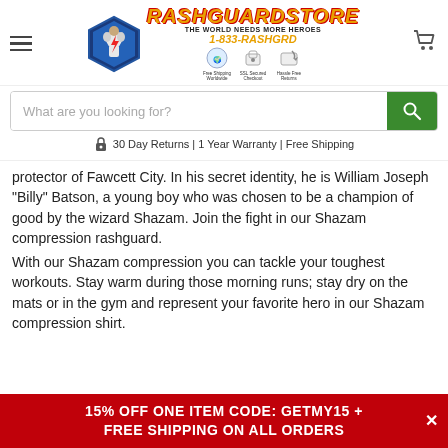[Figure (logo): RashGuardStore logo with hexagon shape containing a muscular figure, site title in yellow italic bold 'RASHGUARDSTORE', tagline 'The World Needs More Heroes', phone number '1-833-RASHGRD', and three trust badges: Free Shipping Worldwide, SSL Secured Checkout, Hassle Free Returns]
What are you looking for?
30 Day Returns | 1 Year Warranty | Free Shipping
protector of Fawcett City. In his secret identity, he is William Joseph "Billy" Batson, a young boy who was chosen to be a champion of good by the wizard Shazam. Join the fight in our Shazam compression rashguard.
With our Shazam compression you can tackle your toughest workouts. Stay warm during those morning runs; stay dry on the mats or in the gym and represent your favorite hero in our Shazam compression shirt.
15% OFF ONE ITEM CODE: GETMY15 + FREE SHIPPING ON ALL ORDERS